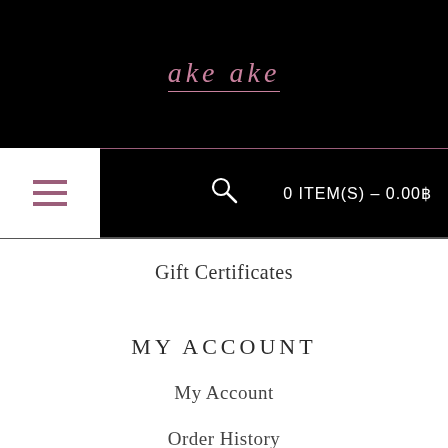ake ake
≡  🔍  0 ITEM(S) - 0.00฿
Gift Certificates
MY ACCOUNT
My Account
Order History
Wish List
Newsletter